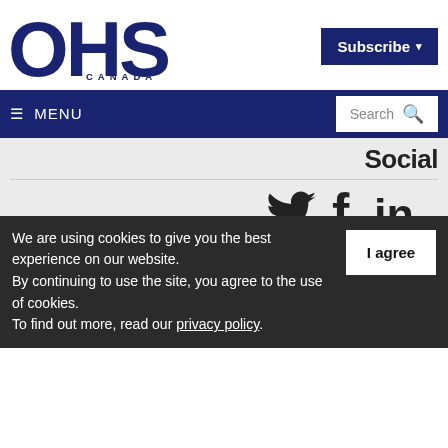[Figure (logo): OHS Canada magazine logo in dark navy blue, with large OHS letters and CANADA written below in spaced caps]
Subscribe ▾
☰ MENU   Search 🔍
Social
[Figure (infographic): Social media icons: Twitter bird, Facebook f, LinkedIn in]
Alabama OHS Canada @ohscanada · 1 Sep
engineer, who
We are using cookies to give you the best experience on our website.
By continuing to use the site, you agree to the use of cookies.
To find out more, read our privacy policy.
I agree